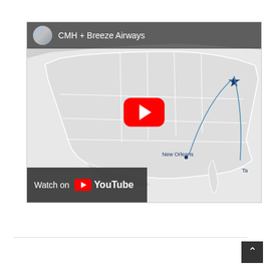[Figure (screenshot): YouTube embedded video thumbnail showing 'CMH + Breeze Airways' with a US map background showing flight routes including New Orleans, a red YouTube play button in the center, and a 'Watch on YouTube' button overlay at the bottom left.]